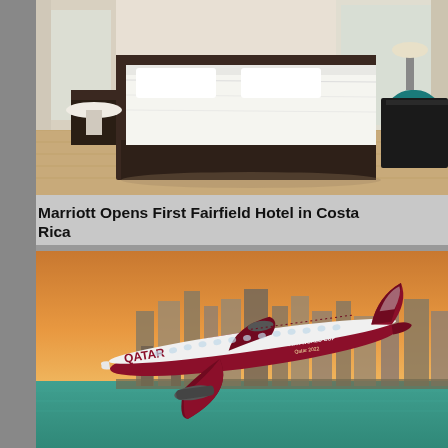[Figure (photo): Hotel room photo showing a neatly made bed with white linens on a dark wooden bed frame, light wood floors, a round white side table, teal accent chair, and curtained windows.]
Marriott Opens First Fairfield Hotel in Costa Rica
[Figure (photo): Qatar Airways airplane with FIFA World Cup Qatar 2022 livery flying above a coastal city skyline at sunset with teal water visible below.]